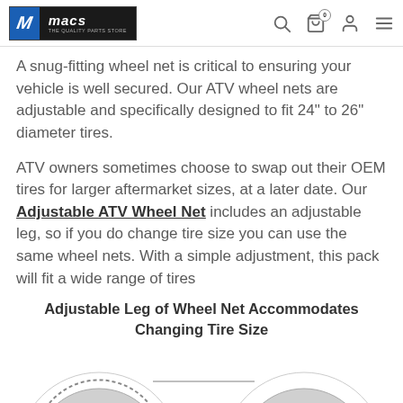[Figure (logo): Macs brand logo with blue M icon and dark macs wordmark, plus navigation icons (search, cart with 0, user, menu)]
A snug-fitting wheel net is critical to ensuring your vehicle is well secured. Our ATV wheel nets are adjustable and specifically designed to fit 24" to 26" diameter tires.
ATV owners sometimes choose to swap out their OEM tires for larger aftermarket sizes, at a later date. Our Adjustable ATV Wheel Net includes an adjustable leg, so if you do change tire size you can use the same wheel nets. With a simple adjustment, this pack will fit a wide range of tires
Adjustable Leg of Wheel Net Accommodates Changing Tire Size
[Figure (photo): Two tire/wheel images partially visible at the bottom of the page with a horizontal line between them]